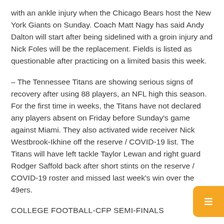with an ankle injury when the Chicago Bears host the New York Giants on Sunday. Coach Matt Nagy has said Andy Dalton will start after being sidelined with a groin injury and Nick Foles will be the replacement. Fields is listed as questionable after practicing on a limited basis this week.
– The Tennessee Titans are showing serious signs of recovery after using 88 players, an NFL high this season. For the first time in weeks, the Titans have not declared any players absent on Friday before Sunday's game against Miami. They also activated wide receiver Nick Westbrook-Ikhine off the reserve / COVID-19 list. The Titans will have left tackle Taylor Lewan and right guard Rodger Saffold back after short stints on the reserve / COVID-19 roster and missed last week's win over the 49ers.
COLLEGE FOOTBALL-CFP SEMI-FINALS
Tide vs Bearcats, Wolverines vs Bulldogs in CFP semi-final
WITHOUT DATE (AP) – The college football playoff semifinals have started in Texas with reigning national champion Alabama playing in